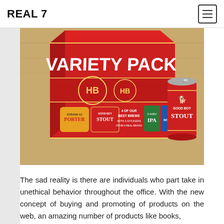REAL 7
[Figure (photo): A red variety pack beer box labeled 'VARIETY PACK' with 'HB' branding, displaying 4 of our best brews including Good Boy Stout, IPA, and Strain 12 Porter. A red Good Boy Stout can is visible next to the box, on a wooden surface.]
The sad reality is there are individuals who part take in unethical behavior throughout the office. With the new concept of buying and promoting of products on the web, an amazing number of products like books,